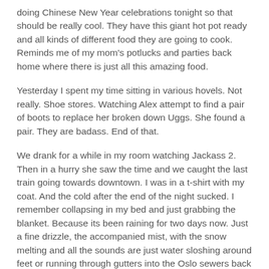doing Chinese New Year celebrations tonight so that should be really cool. They have this giant hot pot ready and all kinds of different food they are going to cook. Reminds me of my mom's potlucks and parties back home where there is just all this amazing food.
Yesterday I spent my time sitting in various hovels. Not really. Shoe stores. Watching Alex attempt to find a pair of boots to replace her broken down Uggs. She found a pair. They are badass. End of that.
We drank for a while in my room watching Jackass 2. Then in a hurry she saw the time and we caught the last train going towards downtown. I was in a t-shirt with my coat. And the cold after the end of the night sucked. I remember collapsing in my bed and just grabbing the blanket. Because its been raining for two days now. Just a fine drizzle, the accompanied mist, with the snow melting and all the sounds are just water sloshing around feet or running through gutters into the Oslo sewers back out in the fjord.
We ran into some kids from Barcelona. They took us to a